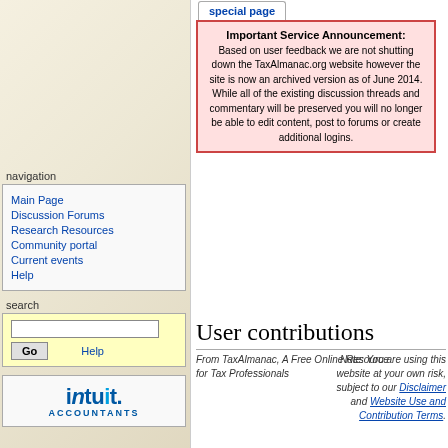special page
Important Service Announcement: Based on user feedback we are not shutting down the TaxAlmanac.org website however the site is now an archived version as of June 2014. While all of the existing discussion threads and commentary will be preserved you will no longer be able to edit content, post to forums or create additional logins.
navigation
Main Page
Discussion Forums
Research Resources
Community portal
Current events
Help
search
[Figure (logo): Intuit Accountants logo]
User contributions
From TaxAlmanac, A Free Online Resource for Tax Professionals   Note: You are using this website at your own risk, subject to our Disclaimer and Website Use and Contribution Terms.